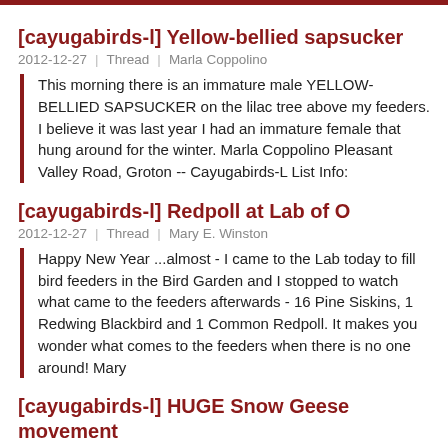[cayugabirds-l] Yellow-bellied sapsucker
2012-12-27 | Thread | Marla Coppolino
This morning there is an immature male YELLOW-BELLIED SAPSUCKER on the lilac tree above my feeders. I believe it was last year I had an immature female that hung around for the winter. Marla Coppolino Pleasant Valley Road, Groton -- Cayugabirds-L List Info:
[cayugabirds-l] Redpoll at Lab of O
2012-12-27 | Thread | Mary E. Winston
Happy New Year ...almost - I came to the Lab today to fill bird feeders in the Bird Garden and I stopped to watch what came to the feeders afterwards - 16 Pine Siskins, 1 Redwing Blackbird and 1 Common Redpoll. It makes you wonder what comes to the feeders when there is no one around! Mary
[cayugabirds-l] HUGE Snow Geese movement
2012-12-27 | Thread | Stephanie Greenwood
A huge, inestimable number of snow geese just flew overhead, the biggest I've ever seen. Brought everyone out of their houses up here to have a look. Stephanie --